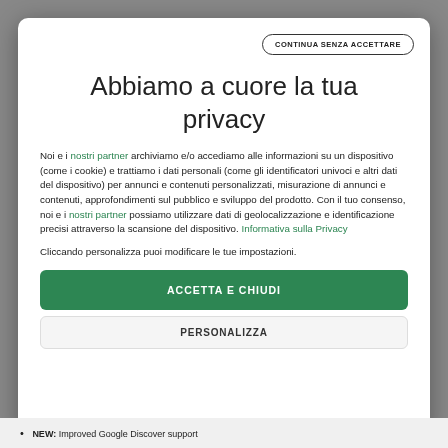[Figure (screenshot): Cookie consent modal dialog overlay on a website. Contains a title 'Abbiamo a cuore la tua privacy', body text explaining data use with green hyperlinks, an 'Accetta e Chiudi' green button, and a 'Personalizza' button. A 'Continua senza accettare' button is in the top right corner of the modal.]
Abbiamo a cuore la tua privacy
Noi e i nostri partner archiviamo e/o accediamo alle informazioni su un dispositivo (come i cookie) e trattiamo i dati personali (come gli identificatori univoci e altri dati del dispositivo) per annunci e contenuti personalizzati, misurazione di annunci e contenuti, approfondimenti sul pubblico e sviluppo del prodotto. Con il tuo consenso, noi e i nostri partner possiamo utilizzare dati di geolocalizzazione e identificazione precisi attraverso la scansione del dispositivo. Informativa sulla Privacy
Cliccando personalizza puoi modificare le tue impostazioni.
ACCETTA E CHIUDI
PERSONALIZZA
NEW: Improved Google Discover support